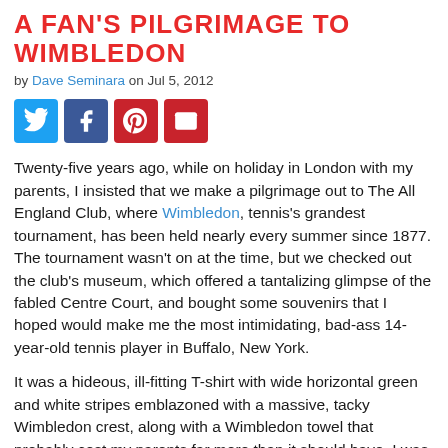A FAN'S PILGRIMAGE TO WIMBLEDON
by Dave Seminara on Jul 5, 2012
[Figure (other): Social share buttons: Twitter, Facebook, Pinterest, Email]
Twenty-five years ago, while on holiday in London with my parents, I insisted that we make a pilgrimage out to The All England Club, where Wimbledon, tennis's grandest tournament, has been held nearly every summer since 1877. The tournament wasn't on at the time, but we checked out the club's museum, which offered a tantalizing glimpse of the fabled Centre Court, and bought some souvenirs that I hoped would make me the most intimidating, bad-ass 14-year-old tennis player in Buffalo, New York.
It was a hideous, ill-fitting T-shirt with wide horizontal green and white stripes emblazoned with a massive, tacky Wimbledon crest, along with a Wimbledon towel that probably cost my parents far more than it should have. I was still years away from being able to legally purchase a pornographic